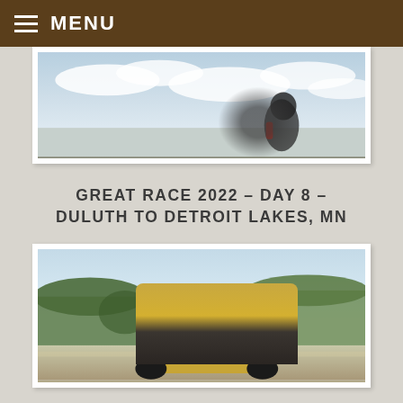MENU
[Figure (photo): A person in dark clothing outdoors under a cloudy sky, partially cropped at the bottom of the frame.]
GREAT RACE 2022 – DAY 8 – DULUTH TO DETROIT LAKES, MN
[Figure (photo): Two helmeted drivers in an antique/vintage yellow race car driving on a road, with green trees in the background.]
GREAT RACE 2022 – DAY 7 –